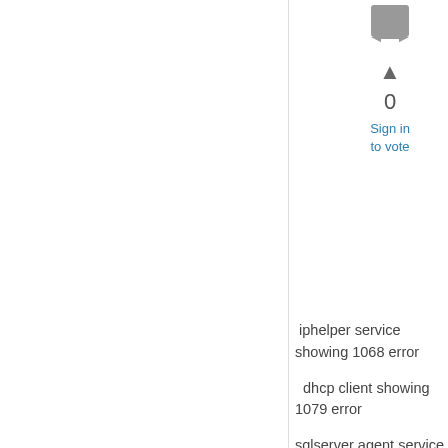[Figure (other): User avatar icon (gray bookmark/person silhouette)]
▲
0
Sign in to vote
iphelper service showing 1068 error
dhcp client showing 1079 error
sqlserver agent service is running now
wdsserver showing 10048 error
network locaton showing 1068 error
yes i m using server 2012 r2 in vmware and just now i have installed sql server 2012 ,wsus and sscm and installed some